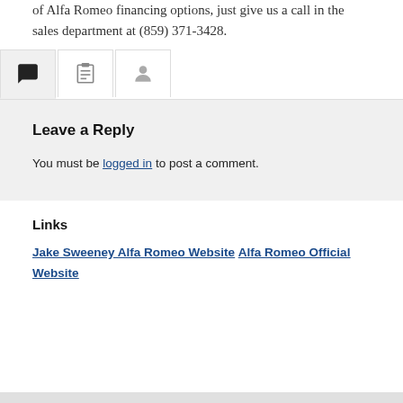of Alfa Romeo financing options, just give us a call in the sales department at (859) 371-3428.
[Figure (other): Tab icons row: active chat bubble tab (highlighted), clipboard/list tab, person/user tab]
Leave a Reply
You must be logged in to post a comment.
Links
Jake Sweeney Alfa Romeo Website Alfa Romeo Official Website